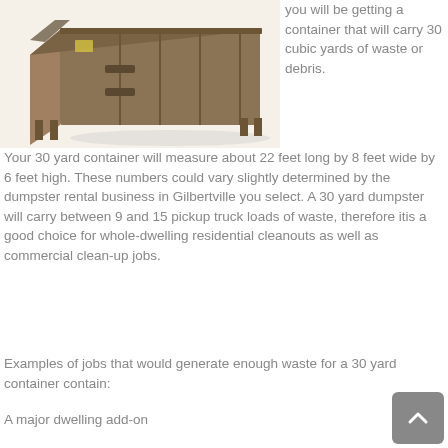[Figure (photo): A large brown metal roll-off dumpster container photographed at an angle, showing its open top and side panels.]
you will be getting a container that will carry 30 cubic yards of waste or debris. Your 30 yard container will measure about 22 feet long by 8 feet wide by 6 feet high. These numbers could vary slightly determined by the dumpster rental business in Gilbertville you select. A 30 yard dumpster will carry between 9 and 15 pickup truck loads of waste, therefore itis a good choice for whole-dwelling residential cleanouts as well as commercial clean-up jobs.
Examples of jobs that would generate enough waste for a 30 yard container contain:
A major dwelling add-on